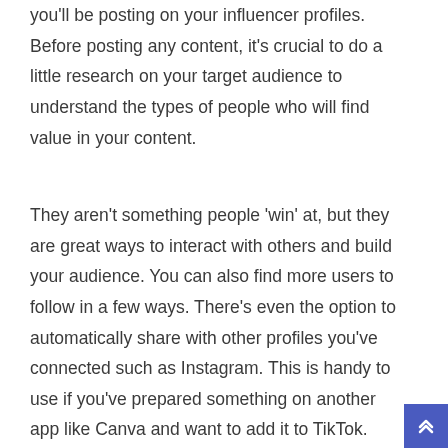you'll be posting on your influencer profiles. Before posting any content, it's crucial to do a little research on your target audience to understand the types of people who will find value in your content.
They aren't something people 'win' at, but they are great ways to interact with others and build your audience. You can also find more users to follow in a few ways. There's even the option to automatically share with other profiles you've connected such as Instagram. This is handy to use if you've prepared something on another app like Canva and want to add it to TikTok. The '+' button